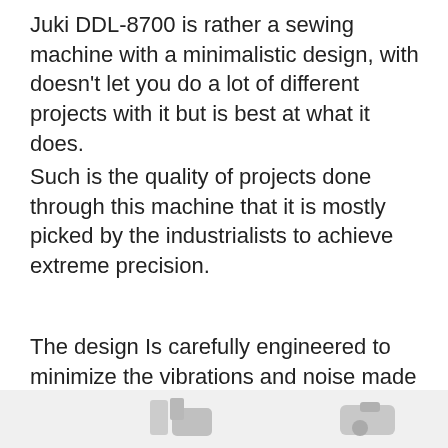Juki DDL-8700 is rather a sewing machine with a minimalistic design, with doesn't let you do a lot of different projects with it but is best at what it does.
Such is the quality of projects done through this machine that it is mostly picked by the industrialists to achieve extreme precision.
The design Is carefully engineered to minimize the vibrations and noise made by the machine, so it is easier to work for long hours when needed.
[Figure (photo): Partial view of a Juki DDL-8700 sewing machine at the bottom of the page]